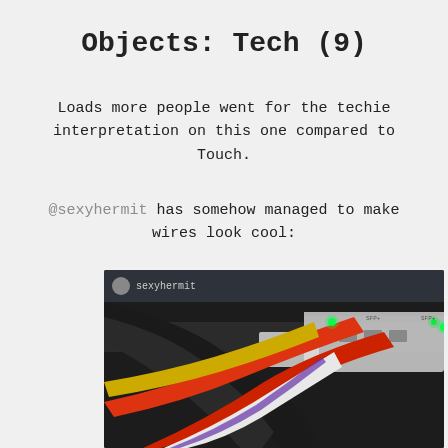Objects: Tech (9)
Loads more people went for the techie interpretation on this one compared to Touch.
@sexyhermit has somehow managed to make wires look cool:
[Figure (photo): A close-up photo of colorful network ethernet cables (red, yellow, white, black) plugged into a network switch, with green LED indicator lights glowing. Posted by Instagram user sexyhermit.]